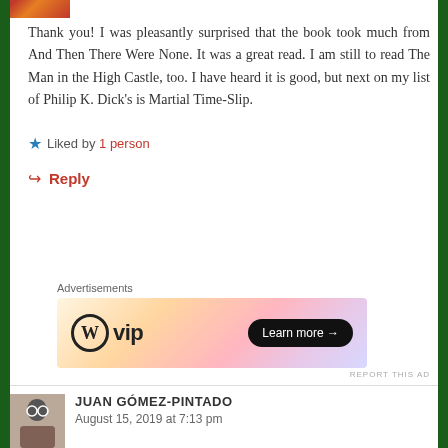[Figure (photo): Partial avatar image at top, partially cropped]
Thank you! I was pleasantly surprised that the book took much from And Then There Were None. It was a great read. I am still to read The Man in the High Castle, too. I have heard it is good, but next on my list of Philip K. Dick's is Martial Time-Slip.
★ Liked by 1 person
↪ Reply
Advertisements
[Figure (screenshot): WordPress VIP advertisement banner with orange/pink gradient and 'Learn more' button]
REPORT THIS AD
JUAN GÓMEZ-PINTADO
August 15, 2019 at 7:13 pm